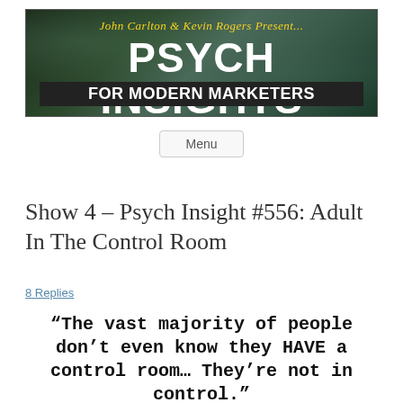[Figure (logo): Psych Insights For Modern Marketers banner — dark green textured background with yellow italic script 'John Carlton & Kevin Rogers Present...' above large white bold text 'PSYCH INSIGHTS' and black bar with white text 'FOR MODERN MARKETERS']
Menu
Show 4 – Psych Insight #556: Adult In The Control Room
8 Replies
“The vast majority of people don’t even know they HAVE a control room… They’re not in control.”